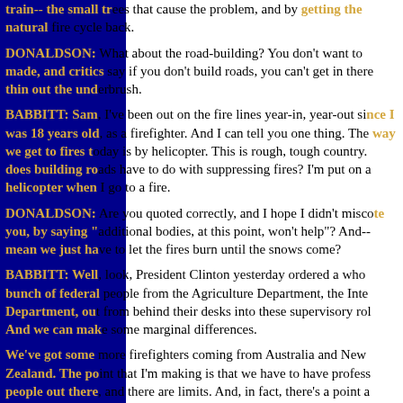train-- the small trees that cause the problem, and by getting the natural fire cycle back.
DONALDSON: What about the road-building? You don't want to made, and critics say if you don't build roads, you can't get in there thin out the underbrush.
BABBITT: Sam, I've been out on the fire lines year-in, year-out since I was 18 years old, as a firefighter. And I can tell you one thing. The way we get to fires today is by helicopter. This is rough, tough country. What does building roads have to do with suppressing fires? I'm put on a helicopter when I go to a fire.
DONALDSON: Are you quoted correctly, and I hope I didn't misquote you, by saying "additional bodies, at this point, won't help"? And-- does mean we just have to let the fires burn until the snows come?
BABBITT: Well, look, President Clinton yesterday ordered a whole bunch of federal people from the Agriculture Department, the Interior Department, out from behind their desks into these supervisory roles. And we can make some marginal differences.
We've got some more firefighters coming from Australia and New Zealand. The point that I'm making is that we have to have professional people out there, and there are limits. And, in fact, there's a point at which it becomes-- start, you know, taking volunteers off street corne